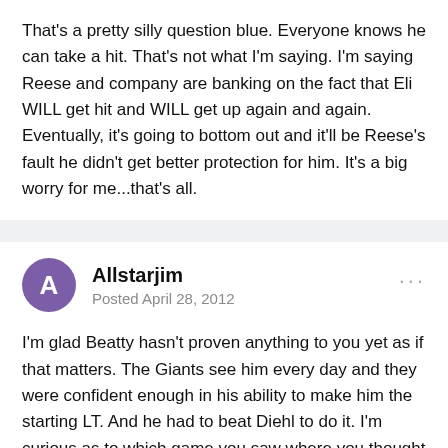That's a pretty silly question blue. Everyone knows he can take a hit. That's not what I'm saying. I'm saying Reese and company are banking on the fact that Eli WILL get hit and WILL get up again and again. Eventually, it's going to bottom out and it'll be Reese's fault he didn't get better protection for him. It's a big worry for me...that's all.
Allstarjim
Posted April 28, 2012
I'm glad Beatty hasn't proven anything to you yet as if that matters. The Giants see him every day and they were confident enough in his ability to make him the starting LT. And he had to beat Diehl to do it. I'm curious as to which game you saw where you thought Beatty was chopped liver? Fact is, he was the best LT we've had on our team in a long time, before the eye injury.
Likewise, all Boothe has done is shown up and put a hurting on